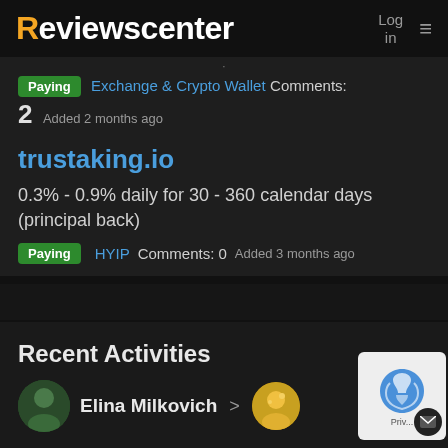Reviewscenter  Log in  ≡
Paying  Exchange & Crypto Wallet  Comments: 2  Added 2 months ago
trustaking.io
0.3% - 0.9% daily for 30 - 360 calendar days (principal back)
Paying  HYIP  Comments: 0  Added 3 months ago
Recent Activities
Elina Milkovich >